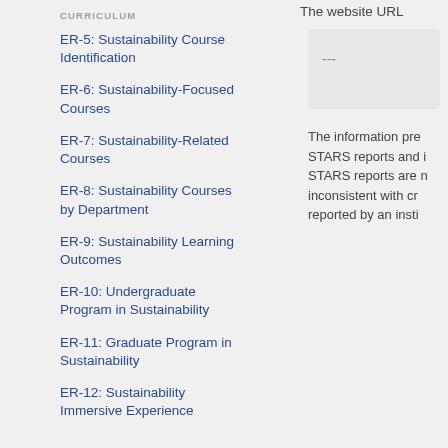CURRICULUM
ER-5: Sustainability Course Identification
ER-6: Sustainability-Focused Courses
ER-7: Sustainability-Related Courses
ER-8: Sustainability Courses by Department
ER-9: Sustainability Learning Outcomes
ER-10: Undergraduate Program in Sustainability
ER-11: Graduate Program in Sustainability
ER-12: Sustainability Immersive Experience
The website URL
---
The information pre STARS reports and i STARS reports are n inconsistent with cr reported by an insti